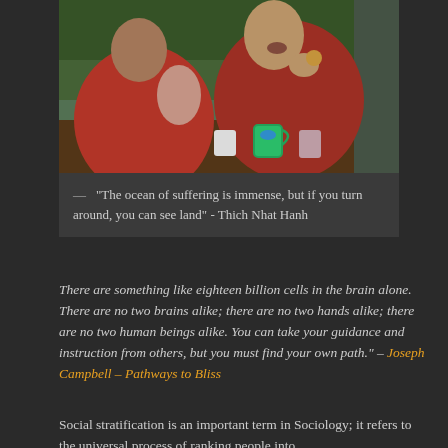[Figure (photo): Two people in red Buddhist monk robes seated at a table, sharing a meal or snack. One is laughing and holding a cookie or biscuit, with colorful mugs and cups on the table. Outdoor setting with greenery in background.]
— "The ocean of suffering is immense, but if you turn around, you can see land" - Thich Nhat Hanh
There are something like eighteen billion cells in the brain alone. There are no two brains alike; there are no two hands alike; there are no two human beings alike. You can take your guidance and instruction from others, but you must find your own path." – Joseph Campbell – Pathways to Bliss
Social stratification is an important term in Sociology; it refers to the universal process of ranking people into